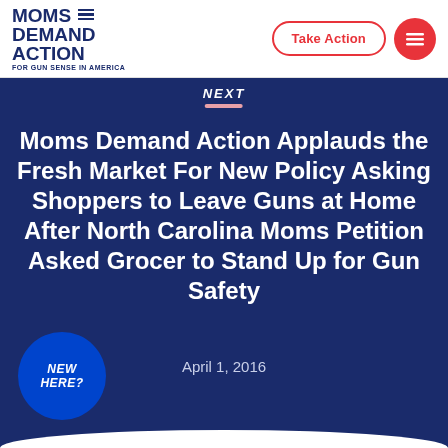[Figure (logo): Moms Demand Action for Gun Sense in America logo with stacked text and horizontal lines]
Take Action
Moms Demand Action Applauds the Fresh Market For New Policy Asking Shoppers to Leave Guns at Home After North Carolina Moms Petition Asked Grocer to Stand Up for Gun Safety
April 1, 2016
NEW HERE?